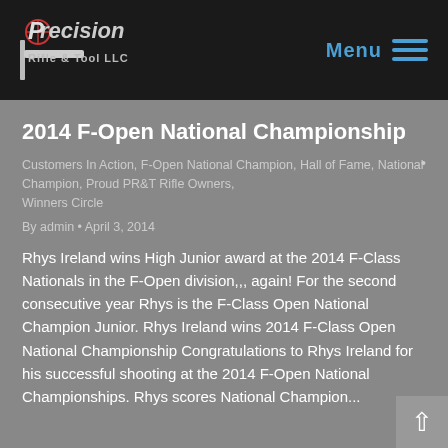Precision Rifle & Tool LLC — Menu
2014 F-Open National Championship
Customers In Action, F-Open National Champion, Hall of Fame, National Champion, Proud PR&T Rifle Owners, Winners Circle
By admin • April 3, 2014
Rhys Ireland wins High Junior award at the 2014 F-Class Nationals in the F-Open division,,, again! For the second consecutive year Rhys is the F-Class Open National Champion Junior. Rhys Ireland wins 2014 F-Class Open National Championship Congratulations to Rhys Ireland for his successful shooting at the 2014 F-Open National Championships. Rhys scores National Champion...